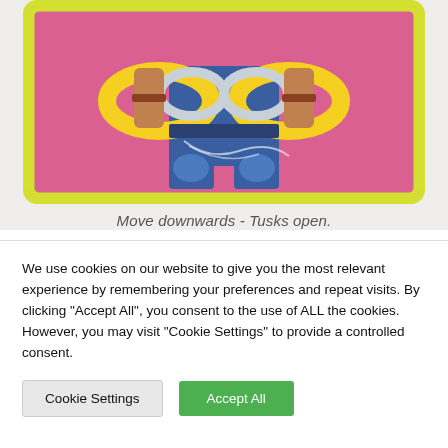[Figure (illustration): Colorful retro cartoon illustration of a robot or armored figure with large yellow hoop/tusk-like rings around its torso, shown from the waist down, set against a pink/magenta background with a yellow-green rounded border.]
Move downwards - Tusks open.
We use cookies on our website to give you the most relevant experience by remembering your preferences and repeat visits. By clicking "Accept All", you consent to the use of ALL the cookies. However, you may visit "Cookie Settings" to provide a controlled consent.